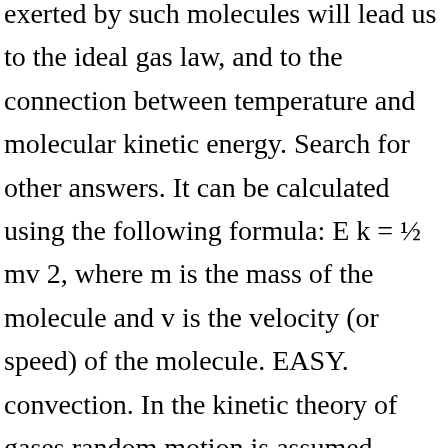exerted by such molecules will lead us to the ideal gas law, and to the connection between temperature and molecular kinetic energy. Search for other answers. It can be calculated using the following formula: E k = ½ mv 2, where m is the mass of the molecule and v is the velocity (or speed) of the molecule. EASY. convection. In the kinetic theory of gases random motion is assumed before deriving anything.. C. the average distance between the molecules of the gas. The temperature of a gas is a measure of the average kinetic energy